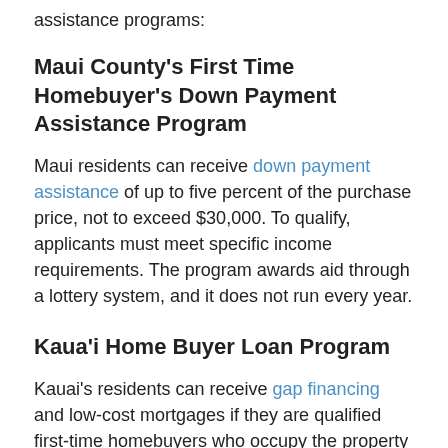assistance programs:
Maui County's First Time Homebuyer's Down Payment Assistance Program
Maui residents can receive down payment assistance of up to five percent of the purchase price, not to exceed $30,000. To qualify, applicants must meet specific income requirements. The program awards aid through a lottery system, and it does not run every year.
Kaua'i Home Buyer Loan Program
Kauai's residents can receive gap financing and low-cost mortgages if they are qualified first-time homebuyers who occupy the property as their primary residence. To qualify, participants will have to meet certain income limits and complete the homebuyer education course.